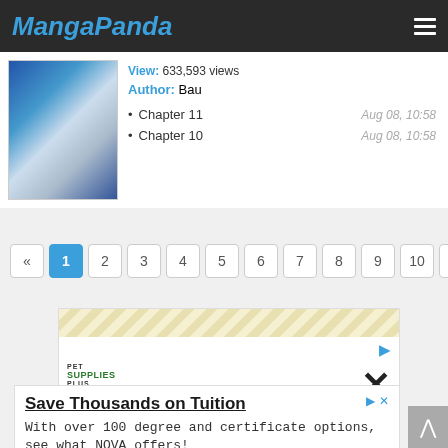MangaPanda
View: 633,593 views
Author: Bau
Chapter 11  Aug 08, 10:58
Chapter 10  Aug 08, 10:58
« 1 2 3 4 5 6 7 8 9 10 »
[Figure (screenshot): Advertisement for Pet Supplies Plus - Shop Hill's Dog Food Today]
[Figure (screenshot): Advertisement - Save Thousands on Tuition. With over 100 degree and certificate options, see what NOVA offers! NOVA - Open button]